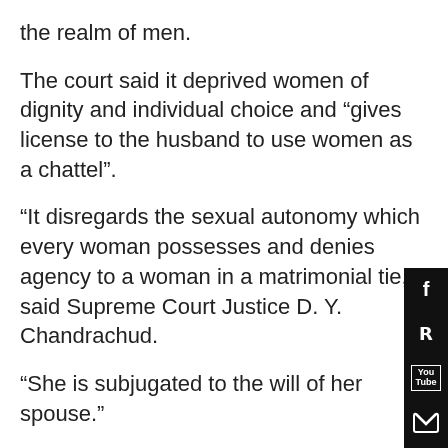the realm of men.
The court said it deprived women of dignity and individual choice and “gives license to the husband to use women as a chattel”.
“It disregards the sexual autonomy which every woman possesses and denies agency to a woman in a matrimonial tie,” said Supreme Court Justice D. Y. Chandrachud.
“She is subjugated to the will of her spouse.”
Convictions for adultery are very rare because of the social stigma, and mostly families resolve matters among themselves, Supreme Court lawyer Utsav Bains told AFP.
“For a man to be convicted for adultery is very rare because the crime has to be proved conclusively beyond